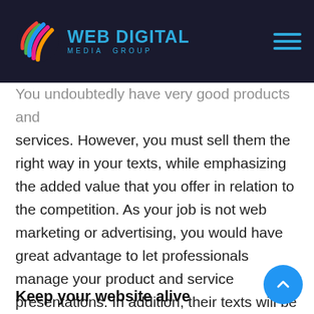Web Digital Media Group
You undoubtedly have very good products and services. However, you must sell them the right way in your texts, while emphasizing the added value that you offer in relation to the competition. As your job is not web marketing or advertising, you would have great advantage to let professionals manage your product and service presentations. In addition, their texts will be optimized so that your site obtains the best SEO possible, thus appearing in the first position of the search results.
Keep your website alive